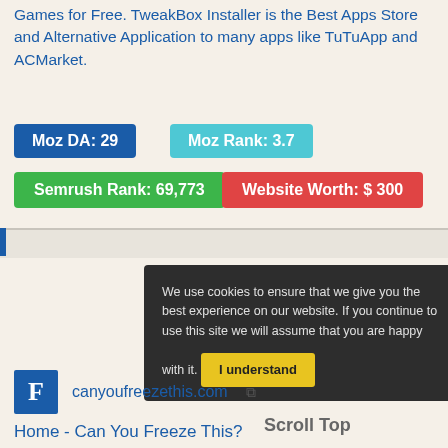Games for Free. TweakBox Installer is the Best Apps Store and Alternative Application to many apps like TuTuApp and ACMarket.
Moz DA: 29
Moz Rank: 3.7
Semrush Rank: 69,773
Website Worth: $ 300
[Figure (screenshot): Cookie consent popup on dark background with 'I understand' yellow button, and 'Scroll Top' label to the right. Below shows partial text about freezing leftovers.]
canyoufreezethis.com
Home - Can You Freeze This?
There are literally thousands of products available on